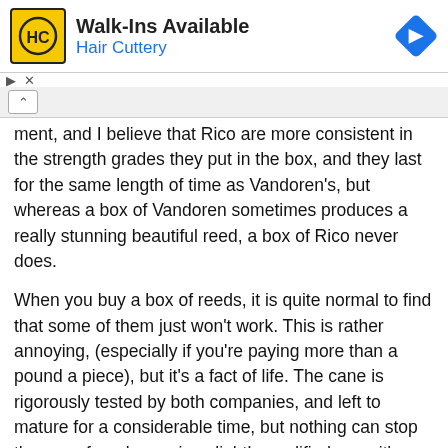[Figure (other): Advertisement banner for Hair Cuttery with yellow HC logo, 'Walk-Ins Available' heading, blue 'Hair Cuttery' subtext, and a blue diamond-shaped arrow icon on the right]
ment, and I believe that Rico are more consistent in the strength grades they put in the box, and they last for the same length of time as Vandoren's, but whereas a box of Vandoren sometimes produces a really stunning beautiful reed, a box of Rico never does.
When you buy a box of reeds, it is quite normal to find that some of them just won't work. This is rather annoying, (especially if you're paying more than a pound a piece), but it's a fact of life. The cane is rigorously tested by both companies, and left to mature for a considerable time, but nothing can stop the cane from becoming slightly modified once it's been packaged up in its box. My personal average from Vandoren is 50% usable reeds per box, while Rico usually gives me 7 or 8 that are playable. So, in effect, they